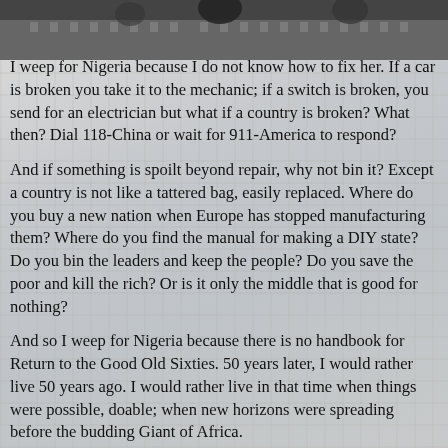[Figure (photo): Partial photograph of a person and a large ornate building in the background, appearing at the top of the page.]
I weep for Nigeria because I do not know how to fix her. If a car is broken you take it to the mechanic; if a switch is broken, you send for an electrician but what if a country is broken? What then? Dial 118-China or wait for 911-America to respond?
And if something is spoilt beyond repair, why not bin it? Except a country is not like a tattered bag, easily replaced. Where do you buy a new nation when Europe has stopped manufacturing them? Where do you find the manual for making a DIY state? Do you bin the leaders and keep the people? Do you save the poor and kill the rich? Or is it only the middle that is good for nothing?
And so I weep for Nigeria because there is no handbook for Return to the Good Old Sixties. 50 years later, I would rather live 50 years ago. I would rather live in that time when things were possible, doable; when new horizons were spreading before the budding Giant of Africa.
Or was the giant still born? Or worse was it born prematurely